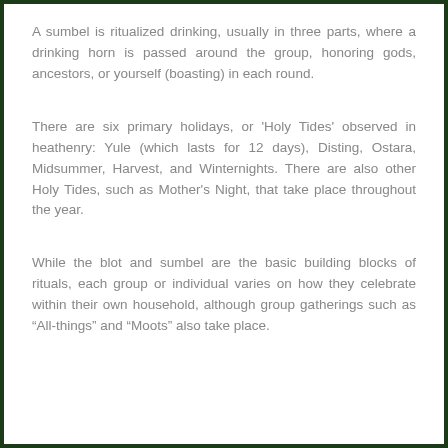A sumbel is ritualized drinking, usually in three parts, where a drinking horn is passed around the group, honoring gods, ancestors, or yourself (boasting) in each round.
There are six primary holidays, or 'Holy Tides' observed in heathenry: Yule (which lasts for 12 days), Disting, Ostara, Midsummer, Harvest, and Winternights. There are also other Holy Tides, such as Mother's Night, that take place throughout the year.
While the blot and sumbel are the basic building blocks of rituals, each group or individual varies on how they celebrate within their own household, although group gatherings such as "All-things" and "Moots" also take place.